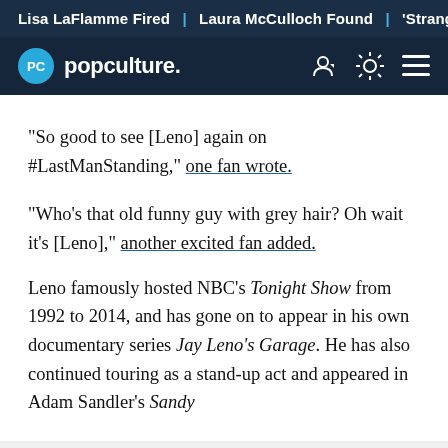Lisa LaFlamme Fired | Laura McCulloch Found | 'Strange Adv
PC popculture.
"So good to see [Leno] again on #LastManStanding," one fan wrote.
"Who's that old funny guy with grey hair? Oh wait it's [Leno]," another excited fan added.
Leno famously hosted NBC's Tonight Show from 1992 to 2014, and has gone on to appear in his own documentary series Jay Leno's Garage. He has also continued touring as a stand-up act and appeared in Adam Sandler's Sandy